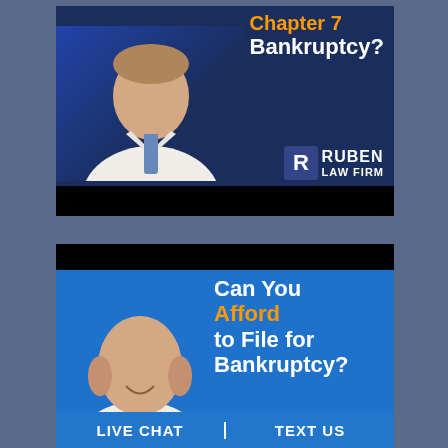[Figure (screenshot): Video thumbnail showing a lawyer in a white shirt and tie against a dark blue background with text 'Chapter 7 Bankruptcy?' and Ruben Law Firm logo]
[Figure (screenshot): Video thumbnail showing a smiling bald lawyer against a blue background with text 'Can You Afford to File for Bankruptcy?']
LIVE CHAT
TEXT US